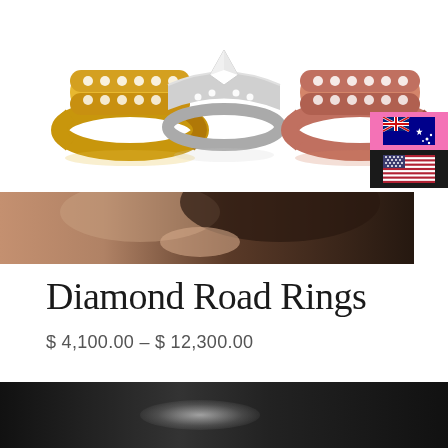[Figure (photo): Three diamond rings displayed on white background — yellow gold, white/silver, and rose gold — with diamond pavé detailing, reflected on a glossy surface]
[Figure (photo): Country/currency selector overlay showing Australian flag (pink background, currently selected) and US flag (dark background) on the right side]
[Figure (photo): Close-up photo of a woman's face/hand with dark hair, skin-toned background fading to dark]
Diamond Road Rings
$ 4,100.00  -  $ 12,300.00
[Figure (photo): Dark background product photo with a soft white/grey glowing highlight, likely showcasing a ring]